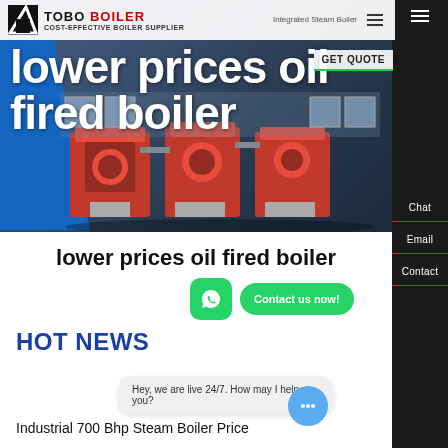[Figure (screenshot): TOBO Boiler website header with logo, navigation, and hero image of industrial boilers]
lower prices oil fired boiler
lower prices oil fired boiler
HOT NEWS
Hey, we are live 24/7. How may I help you?
Industrial 700 Bhp Steam Boiler Price